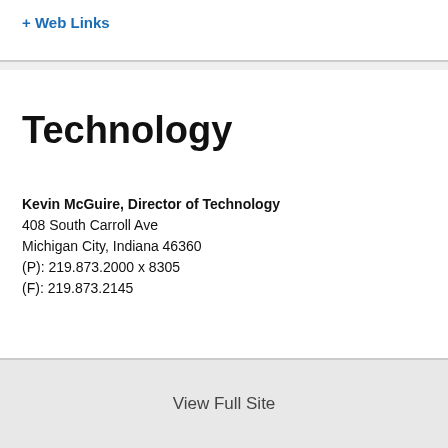+ Web Links
Technology
Kevin McGuire, Director of Technology
408 South Carroll Ave
Michigan City, Indiana 46360
(P): 219.873.2000 x 8305
(F): 219.873.2145
About Us
View Full Site